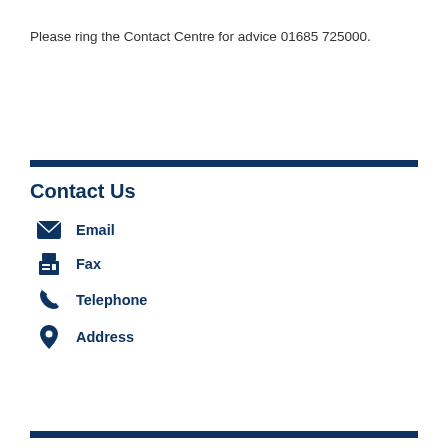Please ring the Contact Centre for advice 01685 725000.
Contact Us
Email
Fax
Telephone
Address